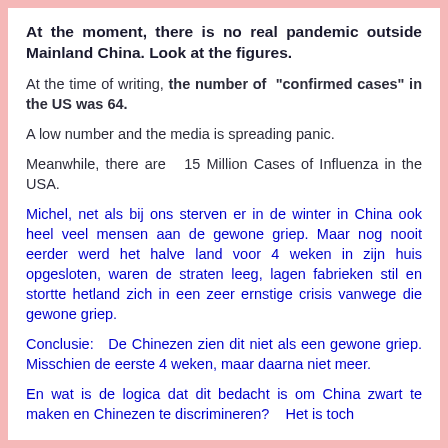At the moment, there is no real pandemic outside Mainland China. Look at the figures.
At the time of writing, the number of "confirmed cases" in the US was 64.
A low number and the media is spreading panic.
Meanwhile, there are  15 Million Cases of Influenza in the USA.
Michel, net als bij ons sterven er in de winter in China ook heel veel mensen aan de gewone griep. Maar nog nooit eerder werd het halve land voor 4 weken in zijn huis opgesloten, waren de straten leeg, lagen fabrieken stil en stortte hetland zich in een zeer ernstige crisis vanwege die gewone griep.
Conclusie:  De Chinezen zien dit niet als een gewone griep. Misschien de eerste 4 weken, maar daarna niet meer.
En wat is de logica dat dit bedacht is om China zwart te maken en Chinezen te discrimineren?  Het is toch